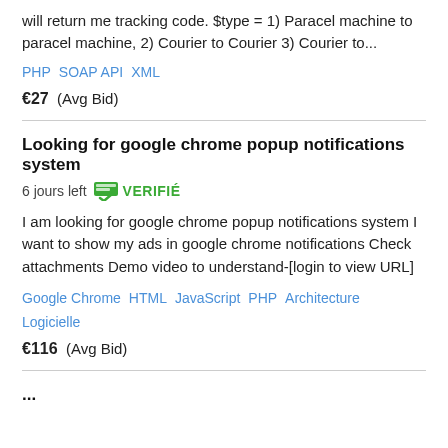will return me tracking code. $type = 1) Paracel machine to paracel machine, 2) Courier to Courier 3) Courier to...
PHP   SOAP API   XML
€27  (Avg Bid)
Looking for google chrome popup notifications system  6 jours left  VERIFIÉ
I am looking for google chrome popup notifications system I want to show my ads in google chrome notifications Check attachments Demo video to understand-[login to view URL]
Google Chrome   HTML   JavaScript   PHP   Architecture Logicielle
€116  (Avg Bid)
...